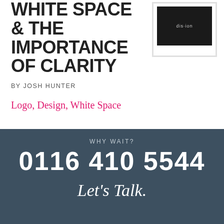WHITE SPACE & THE IMPORTANCE OF CLARITY
[Figure (logo): Black rectangle with small grey text 'dis-ion' centered inside a white-bordered frame]
BY JOSH HUNTER
Logo, Design, White Space
WHY WAIT?
0116 410 5544
Let's Talk.